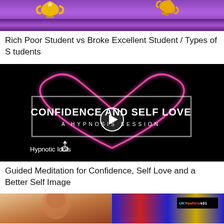[Figure (screenshot): Video thumbnail with purple background and gold trophies for 'Rich Poor Student vs Broke Excellent Student / Types of Students']
Rich Poor Student vs Broke Excellent Student / Types of Students
[Figure (screenshot): Video thumbnail with black background, glowing pink heart, text 'CONFIDENCE AND SELF LOVE A HYPNOSIS SESSION', play button overlay, and Hypnotic Ideas logo]
Guided Meditation for Confidence, Self Love and a Better Self Image
[Figure (screenshot): Two partial video thumbnails side by side at bottom of page — left shows a person's face, right shows a colorful UK YouNow News31 graphic]